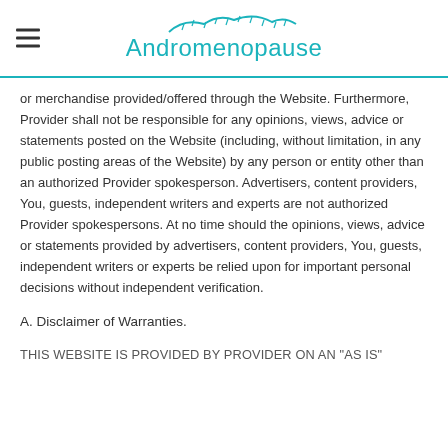Andromenopause
or merchandise provided/offered through the Website. Furthermore, Provider shall not be responsible for any opinions, views, advice or statements posted on the Website (including, without limitation, in any public posting areas of the Website) by any person or entity other than an authorized Provider spokesperson. Advertisers, content providers, You, guests, independent writers and experts are not authorized Provider spokespersons. At no time should the opinions, views, advice or statements provided by advertisers, content providers, You, guests, independent writers or experts be relied upon for important personal decisions without independent verification.
A. Disclaimer of Warranties.
THIS WEBSITE IS PROVIDED BY PROVIDER ON AN "AS IS"